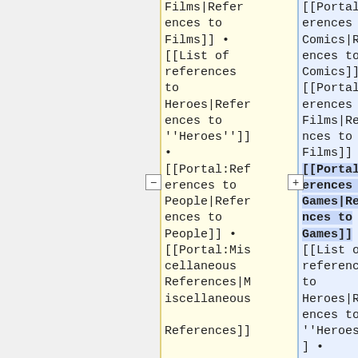Films|References to Films]] • [[List of references to Heroes|References to ''Heroes'']] • [[Portal:References to People|References to People]] • [[Portal:Miscellaneous References|Miscellaneous References]]
[[Portal:References to Comics|References to Comics]] • [[Portal:References to Films|References to Films]] • [[Portal:References to Games|References to Games]] • [[List of references to Heroes|References to ''Heroes'']] •